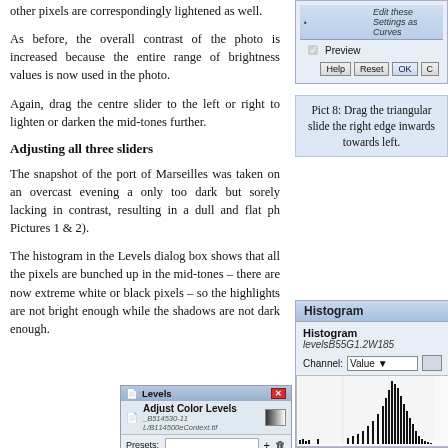other pixels are correspondingly lightened as well.
As before, the overall contrast of the photo is increased because the entire range of brightness values is now used in the photo.
Again, drag the centre slider to the left or right to lighten or darken the mid-tones further.
[Figure (screenshot): Screenshot of an image editing dialog showing 'Edit these Settings as Curves' button, Preview checkbox, and Help/Reset/OK/Cancel buttons]
Pict 8: Drag the triangular slide the right edge inwards towards left.
Adjusting all three sliders
The snapshot of the port of Marseilles was taken on an overcast evening a only too dark but sorely lacking in contrast, resulting in a dull and flat ph Pictures 1 & 2).
The histogram in the Levels dialog box shows that all the pixels are bunched up in the mid-tones – there are now extreme white or black pixels – so the highlights are not bright enough while the shadows are not dark enough.
[Figure (screenshot): Histogram panel showing Channel: Value dropdown with histogram bars clustered on the right side]
[Figure (screenshot): Levels dialog showing Adjust Color Levels with Presets, Channel Value fields, and Input Levels section]